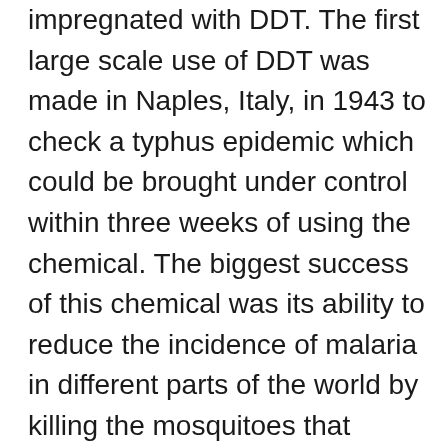The shirts of the American and British troops were impregnated with DDT. The first large scale use of DDT was made in Naples, Italy, in 1943 to check a typhus epidemic which could be brought under control within three weeks of using the chemical. The biggest success of this chemical was its ability to reduce the incidence of malaria in different parts of the world by killing the mosquitoes that carried the germ. He developed substances for the tanning of leather that were synthetic in nature but produced fast colors. He also found out methods to conserve hides and to make wool and textile resistant to moths. His interest in botany also helped him discover a seed dressing which was free from mercury and helped the Swiss farmers.